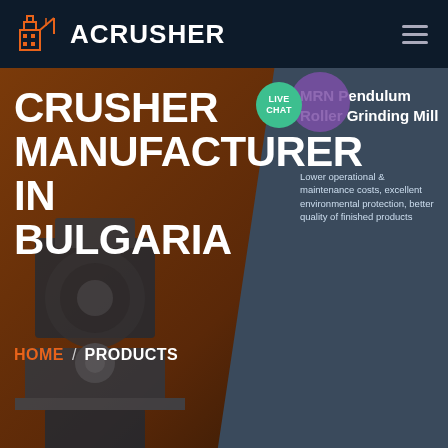ACRUSHER
CRUSHER MANUFACTURER IN BULGARIA
MRN Pendulum Roller Grinding Mill
Lower operational & maintenance costs, excellent environmental protection, better quality of finished products
LIVE CHAT
HOME / PRODUCTS
[Figure (screenshot): Blue circular chat button with ellipsis icon]
Get a Quote
WhatsApp